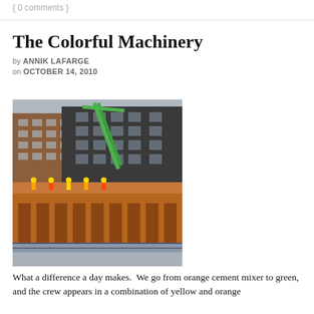{ 0 comments }
The Colorful Machinery
by ANNIK LAFARGE
on OCTOBER 14, 2010
[Figure (photo): Construction site photograph showing workers on scaffolding and a concrete structure with a bright green crane/boom extending above, with brick buildings in the background.]
What a difference a day makes.  We go from orange cement mixer to green, and the crew appears in a combination of yellow and orange